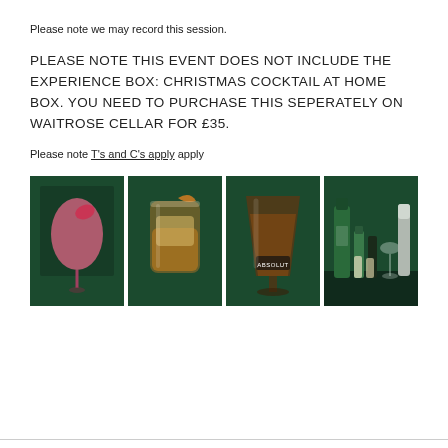Please note we may record this session.
PLEASE NOTE THIS EVENT DOES NOT INCLUDE THE EXPERIENCE BOX: CHRISTMAS COCKTAIL AT HOME BOX. YOU NEED TO PURCHASE THIS SEPERATELY ON WAITROSE CELLAR FOR £35.
Please note T's and C's apply apply
[Figure (photo): Four cocktail/drink photos on dark green background: 1) pink cocktail drink, 2) whisky on the rocks glass with orange garnish, 3) brown cocktail in large glass with Absolut branding, 4) Absolut vodka bottles with mixer bottles and bar tools]